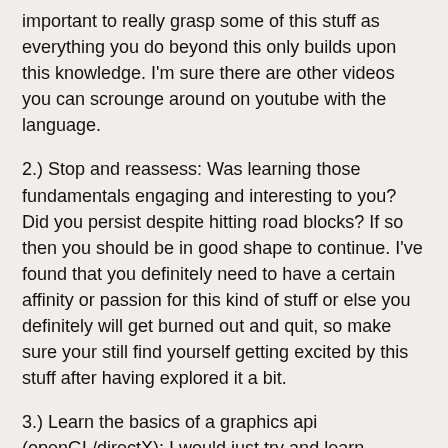important to really grasp some of this stuff as everything you do beyond this only builds upon this knowledge. I'm sure there are other videos you can scrounge around on youtube with the language.
2.) Stop and reassess: Was learning those fundamentals engaging and interesting to you? Did you persist despite hitting road blocks? If so then you should be in good shape to continue. I've found that you definitely need to have a certain affinity or passion for this kind of stuff or else you definitely will get burned out and quit, so make sure your still find yourself getting excited by this stuff after having explored it a bit.
3.) Learn the basics of a graphics api (openGL/directX): I would just try and learn enough to be able to draw some 2d images on the screen. You want to know enough so that you can proceed to the next step. A decent tutorial on openGL is on youtube if you search for "jamie King openGL". He has an entire series that starts from the basics. Also, at somepoint in handmade hero Casey begins to go into openGL programming as well.
4.) Once you feel you have some sort of grasp on the